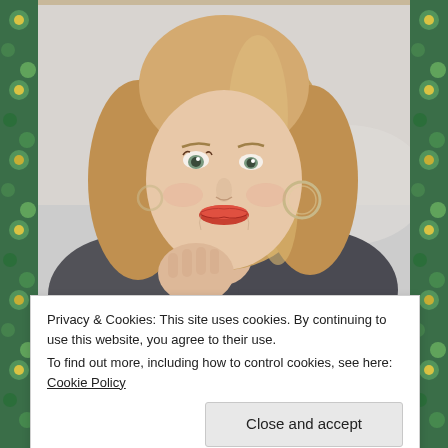[Figure (photo): Portrait photo of a smiling blonde woman with shoulder-length hair, wearing hoop earrings and a dark jacket, posing with her hand near her chin against a light background.]
Privacy & Cookies: This site uses cookies. By continuing to use this website, you agree to their use.
To find out more, including how to control cookies, see here: Cookie Policy